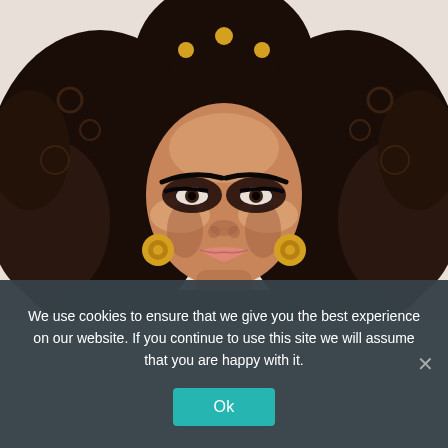[Figure (photo): Portrait of a woman with large voluminous curly dark hair styled up with gold hair accessories, dramatic smoky eye makeup, and gold hoop earrings, photographed against a light background.]
We use cookies to ensure that we give you the best experience on our website. If you continue to use this site we will assume that you are happy with it.
Ok